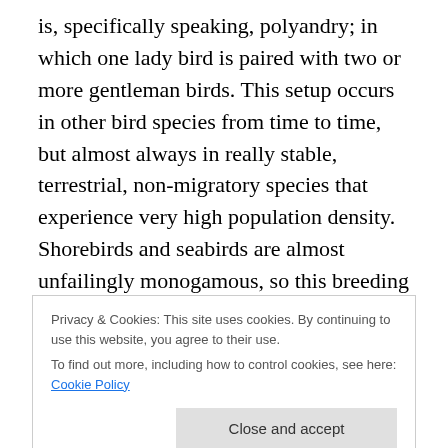is, specifically speaking, polyandry; in which one lady bird is paired with two or more gentleman birds. This setup occurs in other bird species from time to time, but almost always in really stable, terrestrial, non-migratory species that experience very high population density. Shorebirds and seabirds are almost unfailingly monogamous, so this breeding behavior in these specific populations of skuas is a bit unprecedented. We don't yet understand if this reverse harem situation is conferring some sort of special evolutionary benefit to skuas residing in this specific island chain, or why this breeding system developed in the first
Privacy & Cookies: This site uses cookies. By continuing to use this website, you agree to their use.
To find out more, including how to control cookies, see here: Cookie Policy
a soft spot for their kids. I find it appropriate that a bird that